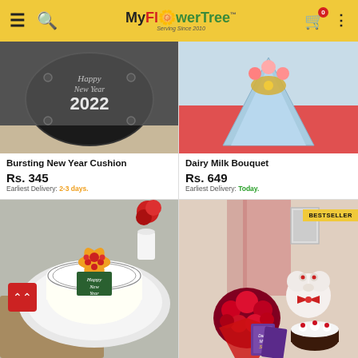[Figure (screenshot): MyFlowerTree mobile app header with hamburger menu, search icon, logo, cart (0 items), and more options]
[Figure (photo): Bursting New Year Cushion - black cushion with New Year 2022 text]
Bursting New Year Cushion
Rs. 345
Earliest Delivery: 2-3 days.
[Figure (photo): Dairy Milk Bouquet - light blue gift bouquet]
Dairy Milk Bouquet
Rs. 649
Earliest Delivery: Today.
[Figure (photo): Happy New Year cake on white plate with fruit decoration]
[Figure (photo): BESTSELLER combo with red roses bouquet, teddy bear, Dairy Milk Silk chocolates and black forest cake]